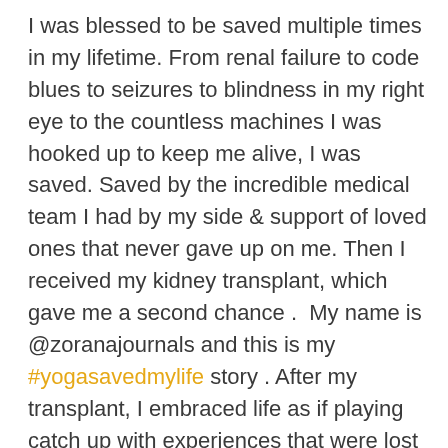I was blessed to be saved multiple times in my lifetime. From renal failure to code blues to seizures to blindness in my right eye to the countless machines I was hooked up to keep me alive, I was saved. Saved by the incredible medical team I had by my side & support of loved ones that never gave up on me. Then I received my kidney transplant, which gave me a second chance .  My name is @zoranajournals and this is my #yogasavedmylife story . After my transplant, I embraced life as if playing catch up with experiences that were lost while I was sick. I participated in reckless behaviors, partying & putting myself in dangerous situations: honestly, coming out of them alive was